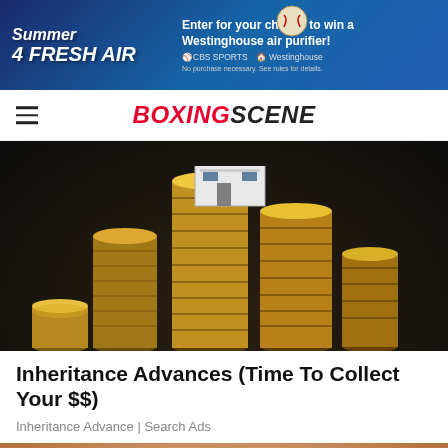[Figure (screenshot): Advertisement banner for CBS Sports Summer of Fresh Air campaign with Westinghouse air purifier giveaway. Blue gradient background with stylized text and baseball graphic.]
BOXINGSCENE
[Figure (photo): Person's fingers holding a miniature model house above tall stacks of gold coins arranged on a dark surface.]
Inheritance Advances (Time To Collect Your $$)
Inheritance Advance | Search Ads
[Figure (photo): Close-up photo of a person's face, showing nose and lower face area, cropped at the bottom edge.]